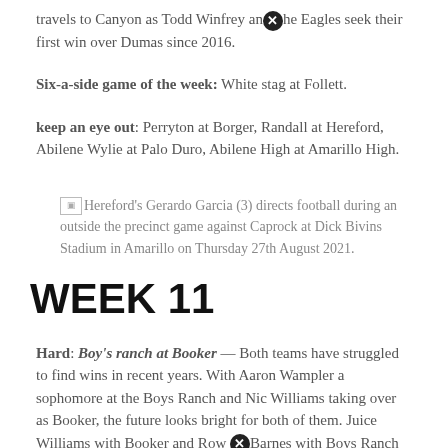travels to Canyon as Todd Winfrey and the Eagles seek their first win over Dumas since 2016.
Six-a-side game of the week: White stag at Follett.
keep an eye out: Perryton at Borger, Randall at Hereford, Abilene Wylie at Palo Duro, Abilene High at Amarillo High.
[Figure (photo): Hereford's Gerardo Garcia (3) directs football during an outside the precinct game against Caprock at Dick Bivins Stadium in Amarillo on Thursday 27th August 2021.]
WEEK 11
Hard: Boy's ranch at Booker — Both teams have struggled to find wins in recent years. With Aaron Wampler a sophomore at the Boys Ranch and Nic Williams taking over as Booker, the future looks bright for both of them. Juice Williams with Booker and Row Barnes with Boys Ranch should put